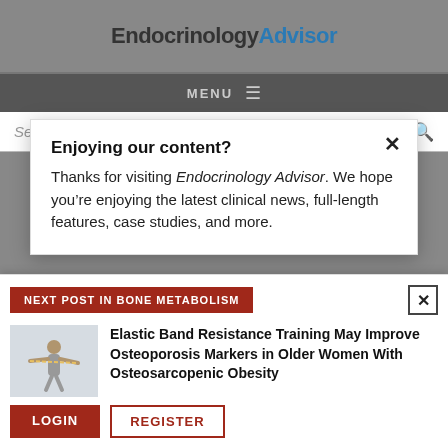EndocrinologyAdvisor
MENU
Search...
Enjoying our content?
Thanks for visiting Endocrinology Advisor. We hope you’re enjoying the latest clinical news, full-length features, case studies, and more.
NEXT POST IN BONE METABOLISM
Elastic Band Resistance Training May Improve Osteoporosis Markers in Older Women With Osteosarcopenic Obesity
LOGIN
REGISTER